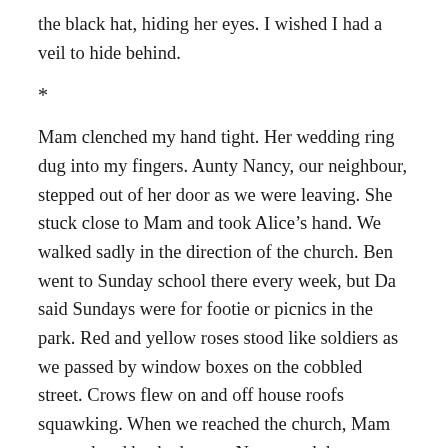the black hat, hiding her eyes. I wished I had a veil to hide behind.
*
Mam clenched my hand tight. Her wedding ring dug into my fingers. Aunty Nancy, our neighbour, stepped out of her door as we were leaving. She stuck close to Mam and took Alice’s hand. We walked sadly in the direction of the church. Ben went to Sunday school there every week, but Da said Sundays were for footie or picnics in the park. Red and yellow roses stood like soldiers as we passed by window boxes on the cobbled street. Crows flew on and off house roofs squawking. When we reached the church, Mam stopped and backed away. Nancy took her arm and led us into the dark building. We sat down in line on the hard, brown benches. The vicar opened his book and